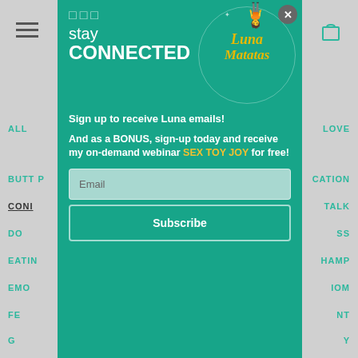[Figure (screenshot): Website popup modal on a gray background. Modal has teal/green background with 'stay CONNECTED' heading, Luna Matatas logo with dancer figure, sign-up text, bonus offer text for SEX TOY JOY webinar, email input field, and Subscribe button. Gray page background shows partial navigation menu items on left and right sides.]
□□□
stay CONNECTED
Sign up to receive Luna emails!
And as a BONUS, sign-up today and receive my on-demand webinar SEX TOY JOY for free!